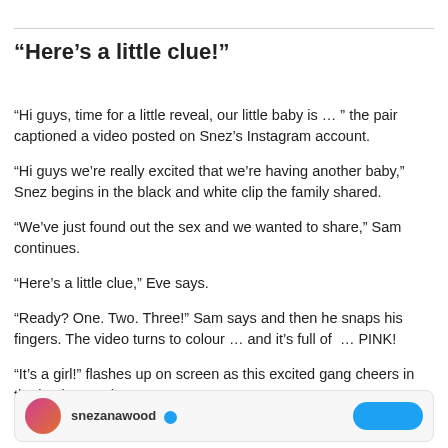“Here’s a little clue!”
“Hi guys, time for a little reveal, our little baby is … ” the pair captioned a video posted on Snez’s Instagram account.
“Hi guys we’re really excited that we’re having another baby,” Snez begins in the black and white clip the family shared.
“We’ve just found out the sex and we wanted to share,” Sam continues.
“Here’s a little clue,” Eve says.
“Ready? One. Two. Three!” Sam says and then he snaps his fingers. The video turns to colour … and it’s full of  … PINK!
“It’s a girl!” flashes up on screen as this excited gang cheers in the background.
[Figure (other): Social media profile card showing snezanawood username with verified badge and a blue follow/action button]